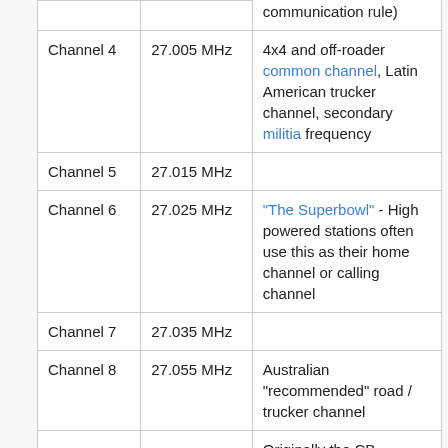|  |  | communication rule) |
| Channel 4 | 27.005 MHz | 4x4 and off-roader common channel, Latin American trucker channel, secondary militia frequency |
| Channel 5 | 27.015 MHz |  |
| Channel 6 | 27.025 MHz | "The Superbowl" - High powered stations often use this as their home channel or calling channel |
| Channel 7 | 27.035 MHz |  |
| Channel 8 | 27.055 MHz | Australian "recommended" road / trucker channel |
|  |  | Originally the CB |